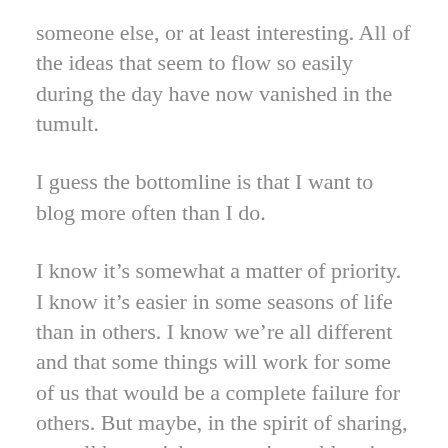someone else, or at least interesting. All of the ideas that seem to flow so easily during the day have now vanished in the tumult.
I guess the bottomline is that I want to blog more often than I do.
I know it’s somewhat a matter of priority. I know it’s easier in some seasons of life than in others. I know we’re all different and that some things will work for some of us that would be a complete failure for others. But maybe, in the spirit of sharing, you all have tricks to consistent blogging that I don’t know. I guess I just want to hear from you.
Is anyone with me? Does anyone else have the best intentions but struggle to make it happen? What do